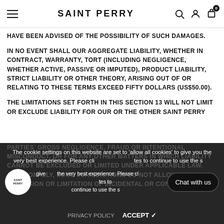SAINT PERRY
HAVE BEEN ADVISED OF THE POSSIBILITY OF SUCH DAMAGES.
IN NO EVENT SHALL OUR AGGREGATE LIABILITY, WHETHER IN CONTRACT, WARRANTY, TORT (INCLUDING NEGLIGENCE, WHETHER ACTIVE, PASSIVE OR IMPUTED), PRODUCT LIABILITY, STRICT LIABILITY OR OTHER THEORY, ARISING OUT OF OR RELATING TO THESE TERMS EXCEED FIFTY DOLLARS (US$50.00).
THE LIMITATIONS SET FORTH IN THIS SECTION 13 WILL NOT LIMIT OR EXCLUDE LIABILITY FOR OUR OR THE OTHER SAINT PERRY PARTIES' GROSS NEGLIGENCE, FRAUD OR INTENTIONAL MISCONDUCT, OR FOR ANY OTHER MATTERS IN WHICH LIABILITY CANNOT BE EXCLUDED OR LIMITED UNDER APPLICABLE LAW. ADDITIONALLY, SOME JURISDICTIONS DO NOT ALLOW THE EXCLUSION OR LIMITATION OF INCIDENTAL OR CONSEQUENTIAL
The cookie settings on this website are set to 'allow all cookies' to give you the very best experience. Please click Accept Cookies to continue to use the site.
PRIVACY POLICY   ACCEPT ✓